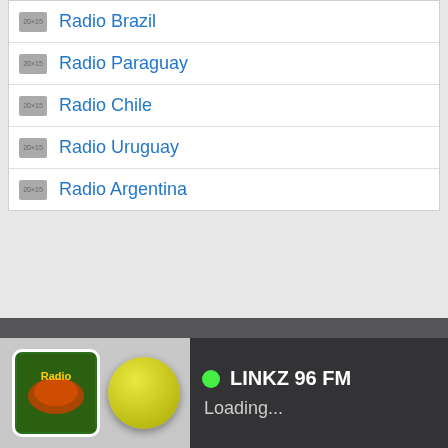Radio Brazil
Radio Paraguay
Radio Chile
Radio Uruguay
Radio Argentina
CONTACT   FACEBOOK   ANDROID   COUNTRY CODE OF JAMAICA
© 2022 radiosjamaica.com All right reserved Privacy | Copyright | About Us | Help
Internet Radio - Listen Online
LINKZ 96 FM
Loading...